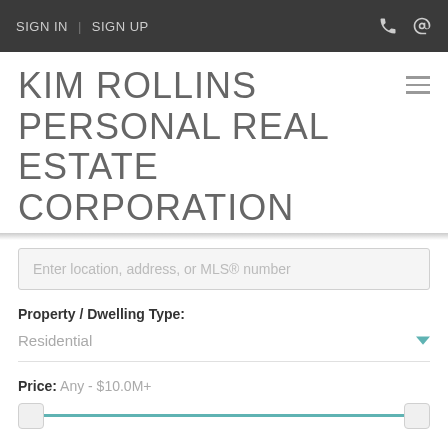SIGN IN | SIGN UP
KIM ROLLINS PERSONAL REAL ESTATE CORPORATION
Enter location, address, or MLS® number
Property / Dwelling Type:
Residential
Price: Any - $10.0M+
Bedrooms: 0 - 10+